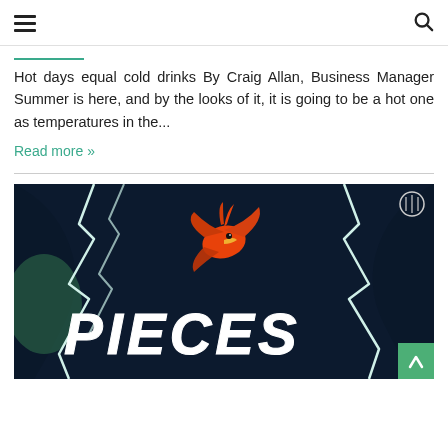Navigation header with hamburger menu and search icon
Hot days equal cold drinks By Craig Allan, Business Manager Summer is here, and by the looks of it, it is going to be a hot one as temperatures in the...
Read more »
[Figure (illustration): Dark teal/navy illustrated poster image showing the word PIECES in white hand-drawn lettering with an orange cardinal bird flying above it, lightning bolt outlines on either side, and a CBC logo in the top right corner]